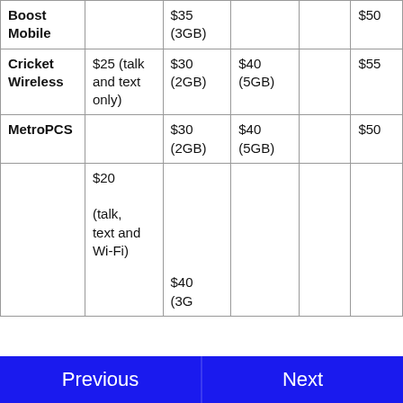|  |  |  |  |  |  |
| --- | --- | --- | --- | --- | --- |
| Boost Mobile |  | $35 (3GB) |  |  | $50 |
| Cricket Wireless | $25 (talk and text only) | $30 (2GB) | $40 (5GB) |  | $55 |
| MetroPCS |  | $30 (2GB) | $40 (5GB) |  | $50 |
|  | $20 (talk, text and Wi-Fi) | $40 (3G...) |  |  |  |
Previous   Next